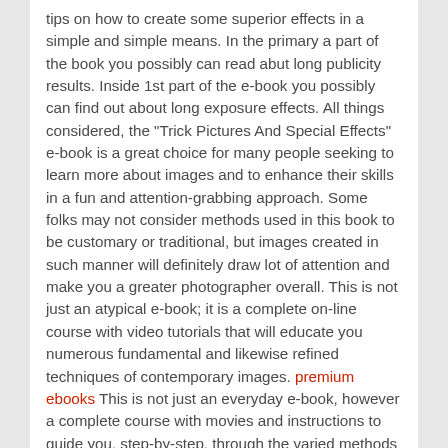tips on how to create some superior effects in a simple and simple means. In the primary a part of the book you possibly can read abut long publicity results. Inside 1st part of the e-book you possibly can find out about long exposure effects. All things considered, the "Trick Pictures And Special Effects" e-book is a great choice for many people seeking to learn more about images and to enhance their skills in a fun and attention-grabbing approach. Some folks may not consider methods used in this book to be customary or traditional, but images created in such manner will definitely draw lot of attention and make you a greater photographer overall. This is not just an atypical e-book; it is a complete on-line course with video tutorials that will educate you numerous fundamental and likewise refined techniques of contemporary images. premium ebooks This is not just an everyday e-book, however a complete course with movies and instructions to guide you, step-by-step, through the varied methods and tricks of fashionable images.
In fact that this is not the only good book about pictures out there and I do not claim it is the perfect. We will notify you when the next book comes out. If you are a professional photographer and have already read most of images guides around then this ebook might not be for you as you'll probably be acquainted with